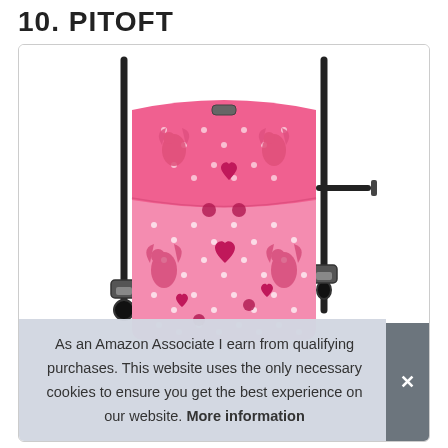10. PITOFT
[Figure (photo): Pink crossbody phone bag/wallet with cupid and hearts pattern on a polka dot background, with black adjustable strap and silver hardware]
As an Amazon Associate I earn from qualifying purchases. This website uses the only necessary cookies to ensure you get the best experience on our website. More information